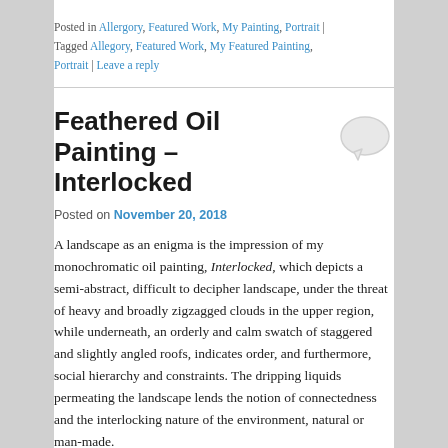Posted in Allergory, Featured Work, My Painting, Portrait | Tagged Allegory, Featured Work, My Featured Painting, Portrait | Leave a reply
Feathered Oil Painting – Interlocked
[Figure (illustration): Speech bubble / comment icon in light gray]
Posted on November 20, 2018
A landscape as an enigma is the impression of my monochromatic oil painting, Interlocked, which depicts a semi-abstract, difficult to decipher landscape, under the threat of heavy and broadly zigzagged clouds in the upper region, while underneath, an orderly and calm swatch of staggered and slightly angled roofs, indicates order, and furthermore, social hierarchy and constraints. The dripping liquids permeating the landscape lends the notion of connectedness and the interlocking nature of the environment, natural or man-made.